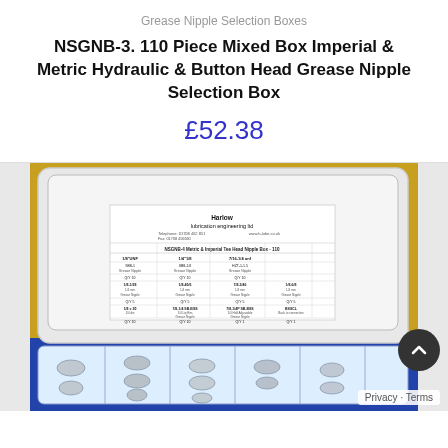Grease Nipple Selection Boxes
NSGNB-3. 110 Piece Mixed Box Imperial & Metric Hydraulic & Button Head Grease Nipple Selection Box
£52.38
[Figure (photo): Product photo of a plastic compartmented box containing mixed grease nipples (Imperial and Metric, hydraulic and button head). The box has a white label inside showing a contents chart labelled 'NSGNB-4 Metric & Imperial Tee Head Nipple Box - 110'. The box lid is clear plastic; the base compartments hold silver/zinc-plated grease nipples. Background is yellow/orange and blue.]
Privacy · Terms